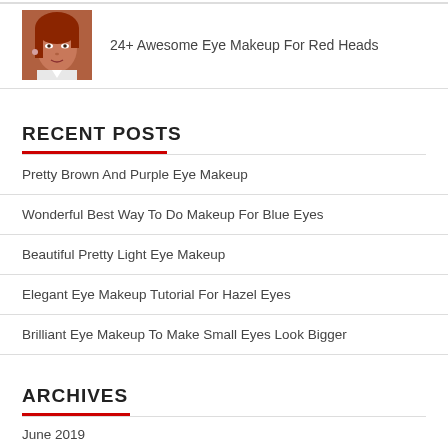[Figure (photo): Thumbnail photo of a red-haired woman]
24+ Awesome Eye Makeup For Red Heads
RECENT POSTS
Pretty Brown And Purple Eye Makeup
Wonderful Best Way To Do Makeup For Blue Eyes
Beautiful Pretty Light Eye Makeup
Elegant Eye Makeup Tutorial For Hazel Eyes
Brilliant Eye Makeup To Make Small Eyes Look Bigger
ARCHIVES
June 2019